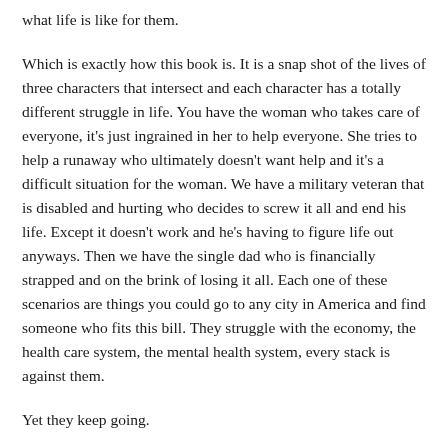what life is like for them.
Which is exactly how this book is. It is a snap shot of the lives of three characters that intersect and each character has a totally different struggle in life. You have the woman who takes care of everyone, it's just ingrained in her to help everyone. She tries to help a runaway who ultimately doesn't want help and it's a difficult situation for the woman. We have a military veteran that is disabled and hurting who decides to screw it all and end his life. Except it doesn't work and he's having to figure life out anyways. Then we have the single dad who is financially strapped and on the brink of losing it all. Each one of these scenarios are things you could go to any city in America and find someone who fits this bill. They struggle with the economy, the health care system, the mental health system, every stack is against them.
Yet they keep going.
Willy's books essentially read like American documentaries and are just so great. This one is no different. I read this book learning more about different plights and seeing a different perspective on things and I just feel like no matter how bad things are in my life, I'm not in any of these categories. Each character is so wonderfully developed that you feel like you know